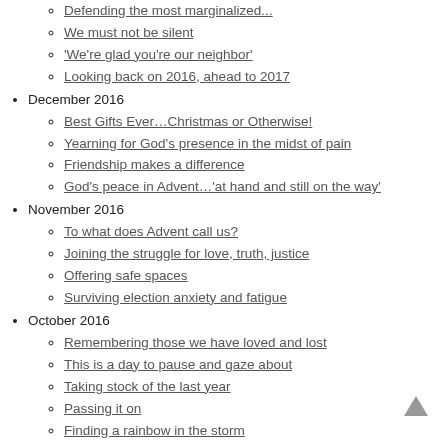Defending the most marginalized...
We must not be silent
'We're glad you're our neighbor'
Looking back on 2016, ahead to 2017
December 2016
Best Gifts Ever…Christmas or Otherwise!
Yearning for God's presence in the midst of pain
Friendship makes a difference
God's peace in Advent…'at hand and still on the way'
November 2016
To what does Advent call us?
Joining the struggle for love, truth, justice
Offering safe spaces
Surviving election anxiety and fatigue
October 2016
Remembering those we have loved and lost
This is a day to pause and gaze about
Taking stock of the last year
Passing it on
Finding a rainbow in the storm
September 2016
MCC turns individual efforts into collective support
Where do you find sanctuary?
Offering connection and embrace
Autumn's 'endless interplay of living and dying'